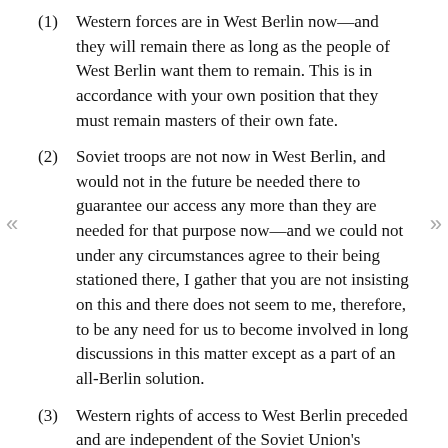(1) Western forces are in West Berlin now—and they will remain there as long as the people of West Berlin want them to remain. This is in accordance with your own position that they must remain masters of their own fate.
(2) Soviet troops are not now in West Berlin, and would not in the future be needed there to guarantee our access any more than they are needed for that purpose now—and we could not under any circumstances agree to their being stationed there, I gather that you are not insisting on this and there does not seem to me, therefore, to be any need for us to become involved in long discussions in this matter except as a part of an all-Berlin solution.
(3) Western rights of access to West Berlin preceded and are independent of the Soviet Union's creation of the present East German regime. Their free exercise is a solemn obligation of the Soviet Government toward us. Those rights should therefore be confirmed and respected by any subsequent regime or any arrangement it purports to make. In no circumstances can we permit these rights to be subjected to the discretion of East German authorities, which